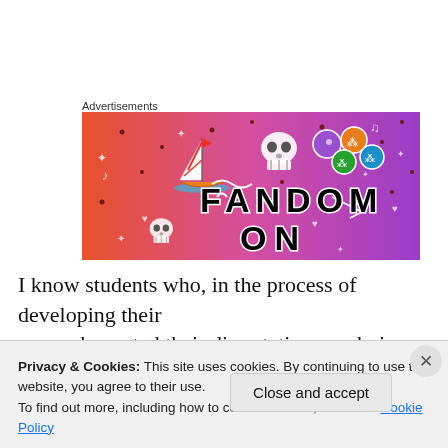Advertisements
[Figure (illustration): Fandom On advertisement banner with colorful gradient background (orange to purple), featuring cartoon icons of a sailboat, skull, dice, and the text 'FANDOM ON' in bold black letters with white outlines.]
I know students who, in the process of developing their research, posted their dissertation ponderings regularly in
Privacy & Cookies: This site uses cookies. By continuing to use this website, you agree to their use.
To find out more, including how to control cookies, see here: Cookie Policy
Close and accept